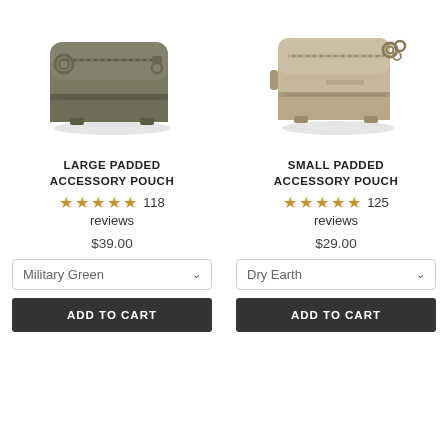[Figure (photo): Military green large padded accessory pouch with zipper and pull ring, shown from front-left angle]
[Figure (photo): Dry earth / tan small padded accessory pouch with zipper and metal rings, shown from front-right angle]
LARGE PADDED ACCESSORY POUCH
SMALL PADDED ACCESSORY POUCH
★★★★★ 118 reviews
★★★★★ 125 reviews
$39.00
$29.00
Military Green
Dry Earth
ADD TO CART
ADD TO CART